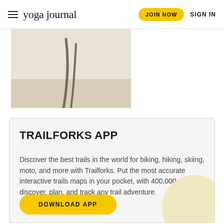yoga journal   JOIN NOW   SIGN IN
[Figure (photo): Partial image of a person doing a yoga pose, cropped at the bottom of the header area, showing legs on a wooden floor with a white background]
TRAILFORKS APP
Discover the best trails in the world for biking, hiking, skiing, moto, and more with Trailforks. Put the most accurate interactive trails maps in your pocket, with 400,000 trails to discover, plan, and track any trail adventure.
DOWNLOAD APP